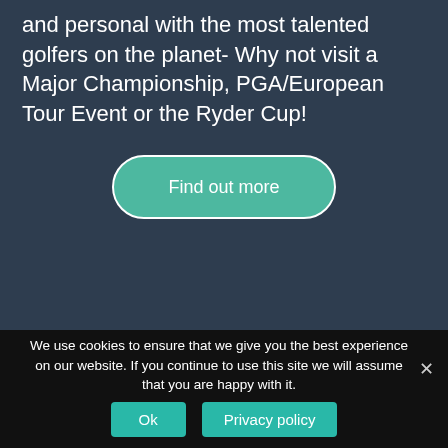and personal with the most talented golfers on the planet- Why not visit a Major Championship, PGA/European Tour Event or the Ryder Cup!
[Figure (other): A teal rounded button labeled 'Find out more' on a dark navy background]
We use cookies to ensure that we give you the best experience on our website. If you continue to use this site we will assume that you are happy with it.
[Figure (other): Two teal buttons labeled 'Ok' and 'Privacy policy' in a cookie consent bar]